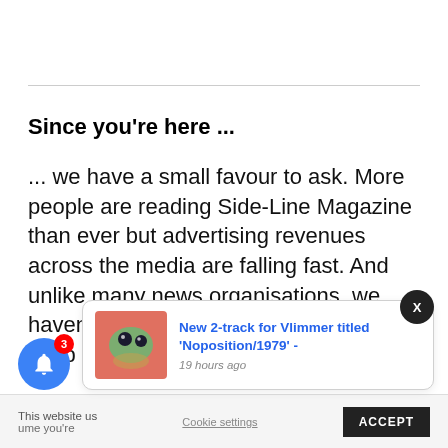Since you're here ...
... we have a small favour to ask. More people are reading Side-Line Magazine than ever but advertising revenues across the media are falling fast. And unlike many news organisations, we haven't put up a paywall – we want to keep our
This website us
ume you're
Cookie settings
ACCEPT
[Figure (screenshot): Blue bell notification icon with red badge showing number 3]
[Figure (screenshot): Notification popup showing article 'New 2-track for Vlimmer titled Noposition/1979' - 19 hours ago with a thumbnail image]
[Figure (screenshot): Black circular X close button in upper right]